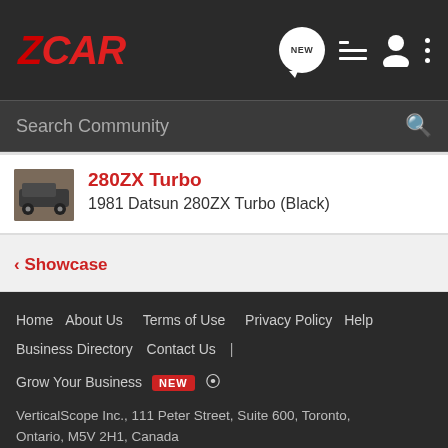ZCAR
280ZX Turbo
1981 Datsun 280ZX Turbo (Black)
< Showcase
Home  About Us  Terms of Use  Privacy Policy  Help  Business Directory  Contact Us  |  Grow Your Business  NEW
VerticalScope Inc., 111 Peter Street, Suite 600, Toronto, Ontario, M5V 2H1, Canada
The Fora platform includes forum software by XenForo